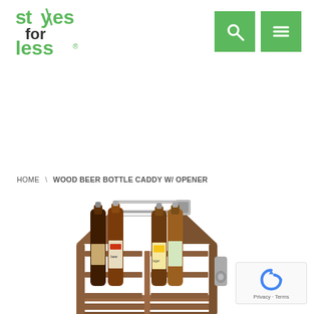[Figure (logo): Styles for Less logo — green text with a stylized 'y' cross]
[Figure (other): Green search icon button and green hamburger menu icon button]
HOME \ WOOD BEER BOTTLE CADDY W/ OPENER
[Figure (photo): Wood beer bottle caddy holding six assorted beer bottles, with a metal handle and a bottle opener mounted on the side. The caddy is made of slatted brown wood.]
[Figure (other): reCAPTCHA badge with Privacy and Terms links]